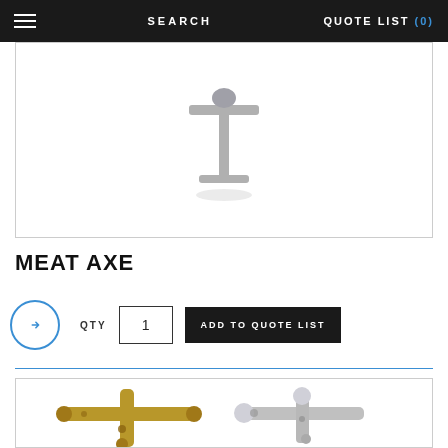SEARCH   QUOTE LIST (0)
[Figure (photo): Product photo of a metal T-bar/pivot hardware piece on white background]
MEAT AXE
[Figure (other): Arrow circle button, QTY input field with value 1, ADD TO QUOTE LIST button]
[Figure (photo): Product photo of two brass/gold T-bar hardware pieces on white background, partially cropped]